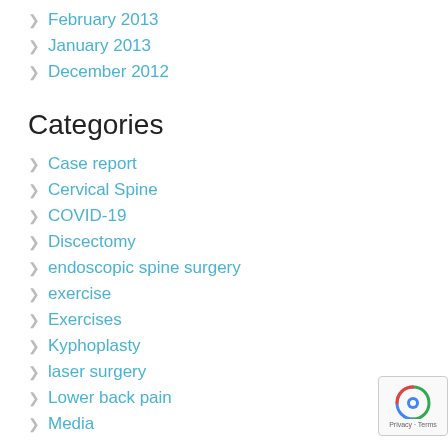February 2013
January 2013
December 2012
Categories
Case report
Cervical Spine
COVID-19
Discectomy
endoscopic spine surgery
exercise
Exercises
Kyphoplasty
laser surgery
Lower back pain
Media